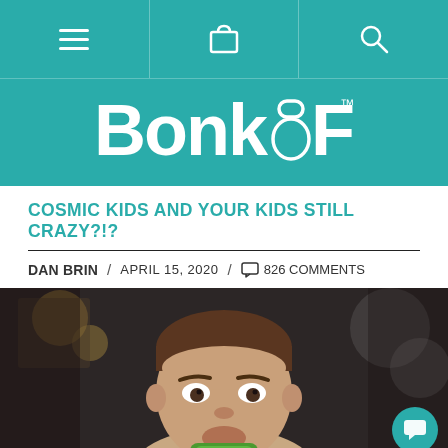BonkFit website navigation bar with menu, cart, and search icons
[Figure (logo): BonkFit logo in white text on teal background]
COSMIC KIDS AND YOUR KIDS STILL CRAZY?!?
DAN BRIN / APRIL 15, 2020 / 826 COMMENTS
[Figure (photo): Close-up photo of a young boy with short brown hair looking intensely at the camera, drinking or eating something green]